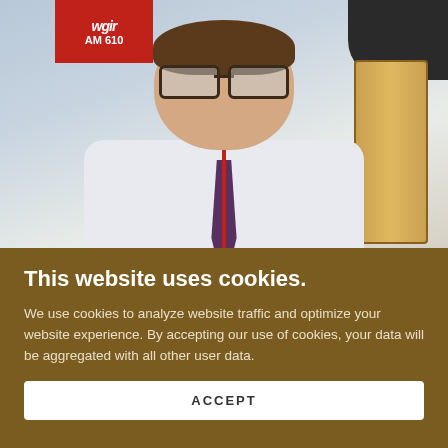[Figure (photo): A man wearing glasses, a white shirt, dark tie with a red lanyard, sitting in what appears to be a radio station studio. A sign reading 'wgir AM 610' is visible in the upper left. A wooden-framed monitor or equipment and dark surfaces are visible in the background.]
This website uses cookies.
We use cookies to analyze website traffic and optimize your website experience. By accepting our use of cookies, your data will be aggregated with all other user data.
ACCEPT